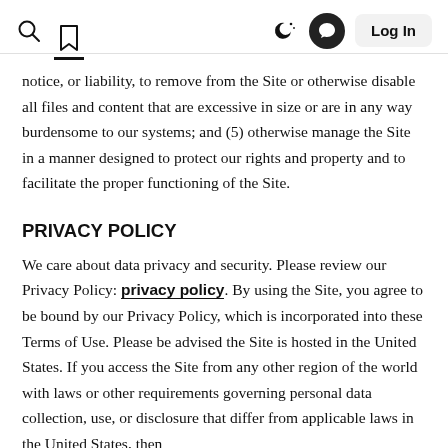Search | Bookmark | Moon | Chat | Log In
notice, or liability, to remove from the Site or otherwise disable all files and content that are excessive in size or are in any way burdensome to our systems; and (5) otherwise manage the Site in a manner designed to protect our rights and property and to facilitate the proper functioning of the Site.
PRIVACY POLICY
We care about data privacy and security. Please review our Privacy Policy: privacy policy. By using the Site, you agree to be bound by our Privacy Policy, which is incorporated into these Terms of Use. Please be advised the Site is hosted in the United States. If you access the Site from any other region of the world with laws or other requirements governing personal data collection, use, or disclosure that differ from applicable laws in the United States, then